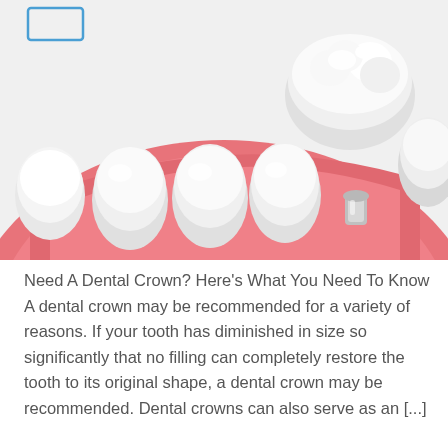[Figure (illustration): 3D medical illustration of a dental arch (lower jaw) with white teeth set in pink gum tissue. A dental crown is shown being placed on a prepared tooth (implant abutment) on the right side. The image shows several healthy white teeth and one tooth with a metal abutment stub receiving a porcelain crown from above.]
Need A Dental Crown? Here's What You Need To Know A dental crown may be recommended for a variety of reasons. If your tooth has diminished in size so significantly that no filling can completely restore the tooth to its original shape, a dental crown may be recommended. Dental crowns can also serve as an [...]